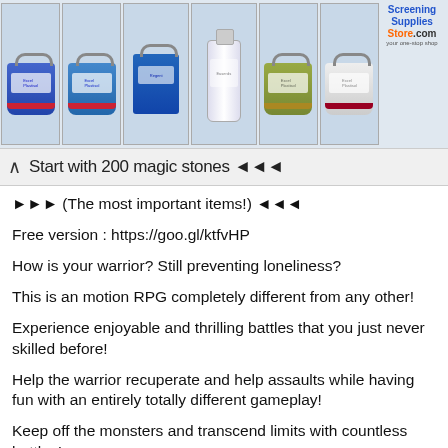[Figure (photo): Row of product buckets/containers in various colors (blue, green, white, yellow, purple) with a 'Screening Supplies Store' logo in the top right corner]
Start with 200 magic stones ◄◄◄
►► (The most important items!) ◄◄◄
Free version : https://goo.gl/ktfvHP
How is your warrior? Still preventing loneliness?
This is an motion RPG completely different from any other!
Experience enjoyable and thrilling battles that you just never skilled before!
Help the warrior recuperate and help assaults while having fun with an entirely totally different gameplay!
Keep off the monsters and transcend limits with countless battles!
Numerous worlds and a wide range of monsters! The pleasure of basic RPG, with quite so much of tools and apparel to obtain via out the game!
Costumes that make you sit up for the next